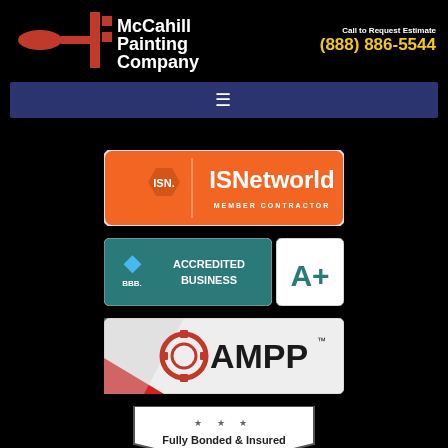[Figure (logo): McCahill Painting Company logo with red/orange paint brush icon and company name in white text]
Call to Request Estimate
(888) 886-5544
[Figure (other): Navigation hamburger menu bar in dark navy blue]
[Figure (logo): ISNetworld Member Contractor badge - orange badge with ISN hexagon logo]
[Figure (logo): BBB Accredited Business badge in teal/green]
[Figure (logo): BBB A+ rating badge in white]
[Figure (logo): AMPP logo badge on light background]
[Figure (logo): Fully Bonded & Insured shield badge with stars]